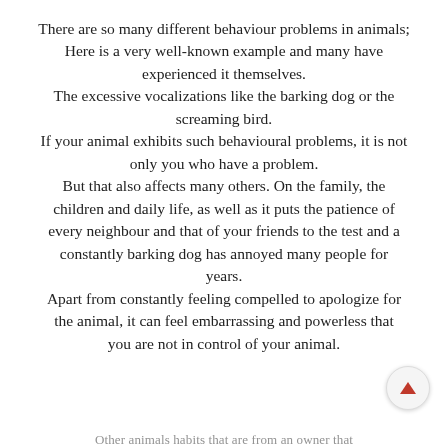There are so many different behaviour problems in animals; Here is a very well-known example and many have experienced it themselves. The excessive vocalizations like the barking dog or the screaming bird. If your animal exhibits such behavioural problems, it is not only you who have a problem. But that also affects many others. On the family, the children and daily life, as well as it puts the patience of every neighbour and that of your friends to the test and a constantly barking dog has annoyed many people for years. Apart from constantly feeling compelled to apologize for the animal, it can feel embarrassing and powerless that you are not in control of your animal.